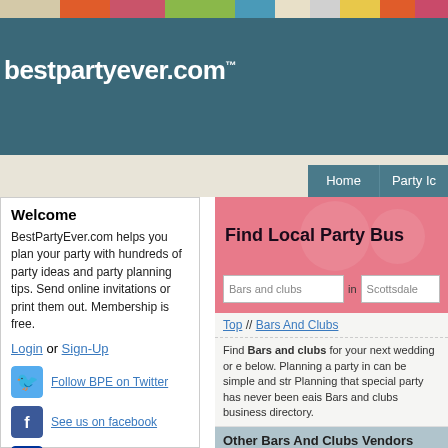bestpartyever.com
Welcome
BestPartyEver.com helps you plan your party with hundreds of party ideas and party planning tips. Send online invitations or print them out. Membership is free.
Login or Sign-Up
Follow BPE on Twitter
See us on facebook
See us on myspace
Find Local Party Bus
Bars and clubs  in  Scottsdale
Top // Bars And Clubs
Find Bars and clubs for your next wedding or e below. Planning a party in can be simple and str Planning that special party has never been eais Bars and clubs business directory.
Other Bars And Clubs Vendors
Brenda Himmel Stationery